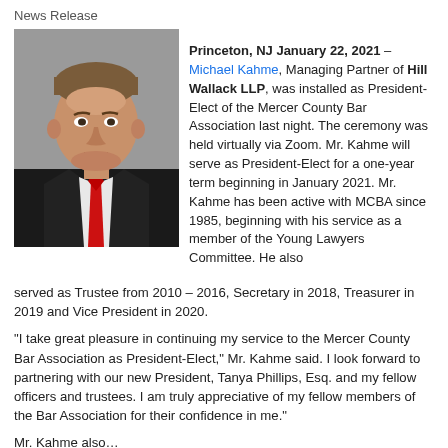News Release
[Figure (photo): Professional headshot of Michael Kahme, a man in a dark suit with a red tie, gray background]
Princeton, NJ January 22, 2021 – Michael Kahme, Managing Partner of Hill Wallack LLP, was installed as President-Elect of the Mercer County Bar Association last night. The ceremony was held virtually via Zoom. Mr. Kahme will serve as President-Elect for a one-year term beginning in January 2021. Mr. Kahme has been active with MCBA since 1985, beginning with his service as a member of the Young Lawyers Committee. He also served as Trustee from 2010 – 2016, Secretary in 2018, Treasurer in 2019 and Vice President in 2020.
"I take great pleasure in continuing my service to the Mercer County Bar Association as President-Elect," Mr. Kahme said. I look forward to partnering with our new President, Tanya Phillips, Esq. and my fellow officers and trustees. I am truly appreciative of my fellow members of the Bar Association for their confidence in me."
Mr. Kahme also…